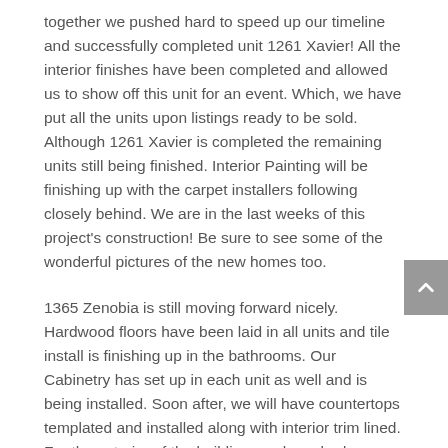together we pushed hard to speed up our timeline and successfully completed unit 1261 Xavier! All the interior finishes have been completed and allowed us to show off this unit for an event. Which, we have put all the units upon listings ready to be sold. Although 1261 Xavier is completed the remaining units still being finished. Interior Painting will be finishing up with the carpet installers following closely behind. We are in the last weeks of this project's construction! Be sure to see some of the wonderful pictures of the new homes too.
1365 Zenobia is still moving forward nicely. Hardwood floors have been laid in all units and tile install is finishing up in the bathrooms. Our Cabinetry has set up in each unit as well and is being installed. Soon after, we will have countertops templated and installed along with interior trim lined. For the exterior of the building, we have had concrete sidewalks poured and painting was done (when weather permitted) for the units. All in all, Zenobia